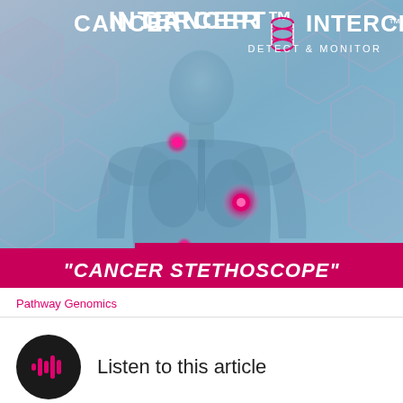[Figure (illustration): Cancer Intercept Detect & Monitor product image showing a translucent human body silhouette with glowing pink cancer markers highlighted at neck, chest, and abdomen. Background features blue-purple hexagonal honeycomb pattern. Large white text at top reads 'CANCER INTERCEPT™ DETECT & MONITOR' with a DNA double helix icon. A pink banner at the bottom reads '"CANCER STETHOSCOPE"'.]
Pathway Genomics
Listen to this article